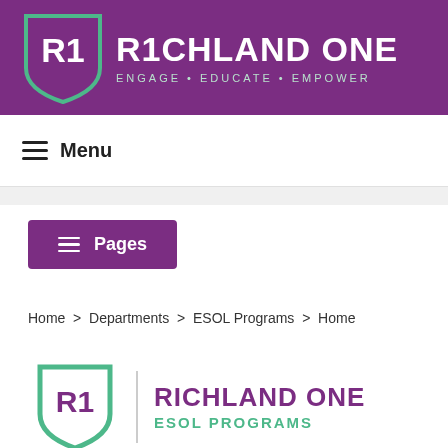[Figure (logo): Richland One school district logo — shield shape with R1 letters, text: RICHLAND ONE ENGAGE · EDUCATE · EMPOWER on purple banner background]
Menu
Pages
Home  >  Departments  >  ESOL Programs  >  Home
[Figure (logo): Richland One ESOL Programs logo — shield with R1, text: RICHLAND ONE ESOL PROGRAMS]